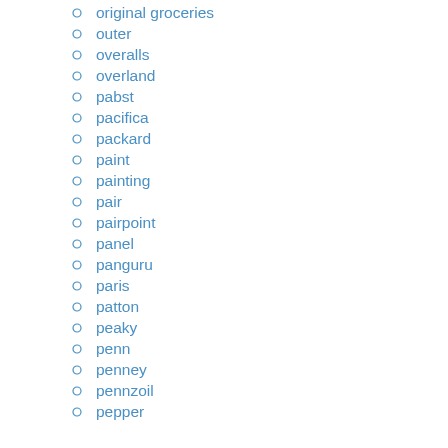original groceries
outer
overalls
overland
pabst
pacifica
packard
paint
painting
pair
pairpoint
panel
panguru
paris
patton
peaky
penn
penney
pennzoil
pepper